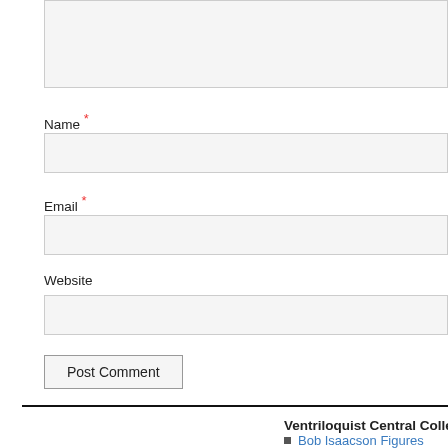[Figure (screenshot): Comment form text area (top portion, cropped)]
Name *
[Figure (screenshot): Name input field]
Email *
[Figure (screenshot): Email input field]
Website
[Figure (screenshot): Website input field]
Post Comment
Ventriloquist Central Collect
Bob Isaacson Figures
Brian Hamilton Figures